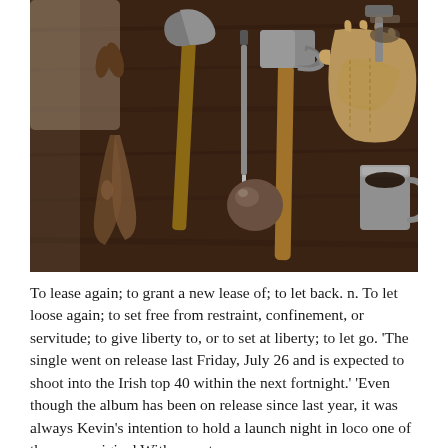[Figure (photo): Flat-lay photograph of various tools and workshop items arranged on a dark wooden surface: rusty pliers/tongs, an axe, a hammer, a knife, work gloves, a round metal object, and a tin cup.]
To lease again; to grant a new lease of; to let back. n. To let loose again; to set free from restraint, confinement, or servitude; to give liberty to, or to set at liberty; to let go. 'The single went on release last Friday, July 26 and is expected to shoot into the Irish top 40 within the next fortnight.' 'Even though the album has been on release since last year, it was always Kevin's intention to hold a launch night in loco one of the more original With open t...